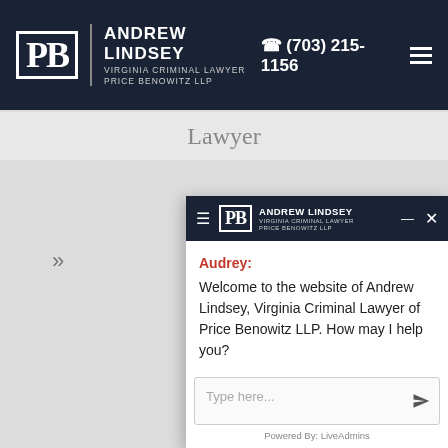Andrew Lindsey Virginia Criminal Lawyer Price Benowitz LLP | (703) 215-1156
Lawyer
[Figure (screenshot): Chat widget popup for Andrew Lindsey Virginia Criminal Lawyer Price Benowitz LLP showing a welcome message from Audrey and a text input field]
Audrey: Welcome to the website of Andrew Lindsey, Virginia Criminal Lawyer of Price Benowitz LLP. How may I help you?
Type here...
Powered By: LiveAdmins